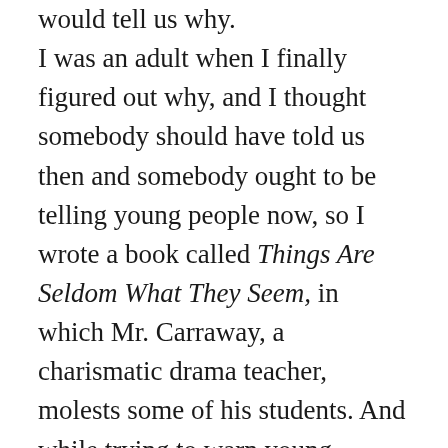would tell us why.
I was an adult when I finally figured out why, and I thought somebody should have told us then and somebody ought to be telling young people now, so I wrote a book called Things Are Seldom What They Seem, in which Mr. Carraway, a charismatic drama teacher, molests some of his students. And while trying to warn young people to protect themselves and to seek help for situations they can't handle alone, I also tried to make the point that the Mr. Carraways of this world aren't monsters. They aren't aliens. They're human beings, just like the rest of us. They're complex